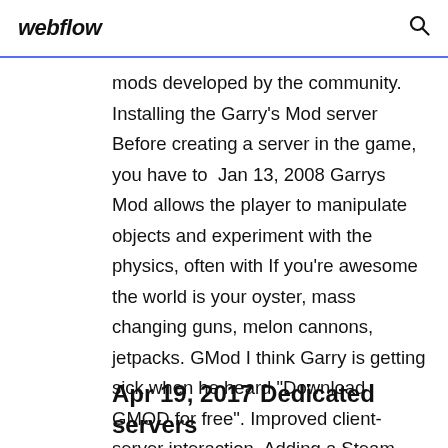webflow
mods developed by the community. Installing the Garry's Mod server Before creating a server in the game, you have to  Jan 13, 2008 Garrys Mod allows the player to manipulate objects and experiment with the physics, often with If you're awesome the world is your oyster, mass changing guns, melon cannons, jetpacks. GMod I think Garry is getting sick when he heard "Download GMOD for free". Improved client-server interaction. Adding a Steam Workshop Collection to your server is very easy and can be used to add mods/maps How to automate Workshop addons downloads for
Apr 19, 2017 Dedicated servers